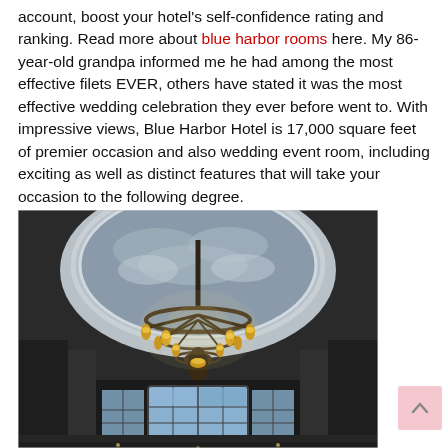account, boost your hotel's self-confidence rating and ranking. Read more about blue harbor rooms here. My 86-year-old grandpa informed me he had among the most effective filets EVER, others have stated it was the most effective wedding celebration they ever before went to. With impressive views, Blue Harbor Hotel is 17,000 square feet of premier occasion and also wedding event room, including exciting as well as distinct features that will take your occasion to the following degree.
[Figure (photo): Interior photo of Blue Harbor Hotel ballroom/lobby looking up at an ornate gold chandelier with multiple candle-style lights, a large oval ceiling dome decorated with cloud murals, and tall arched windows with decorative ironwork along the lower level.]